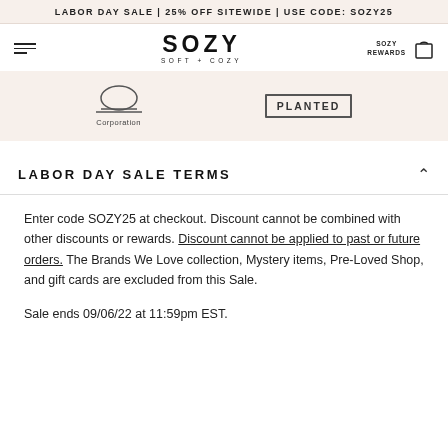LABOR DAY SALE | 25% OFF SITEWIDE | USE CODE: SOZY25
[Figure (logo): SOZY SOFT + COZY brand logo with navigation bar including hamburger menu, SOZY REWARDS text, and shopping bag icon]
[Figure (logo): B Corporation logo and PLANTED badge logos on cream background strip]
LABOR DAY SALE TERMS
Enter code SOZY25 at checkout. Discount cannot be combined with other discounts or rewards. Discount cannot be applied to past or future orders. The Brands We Love collection, Mystery items, Pre-Loved Shop, and gift cards are excluded from this Sale.

Sale ends 09/06/22 at 11:59pm EST.